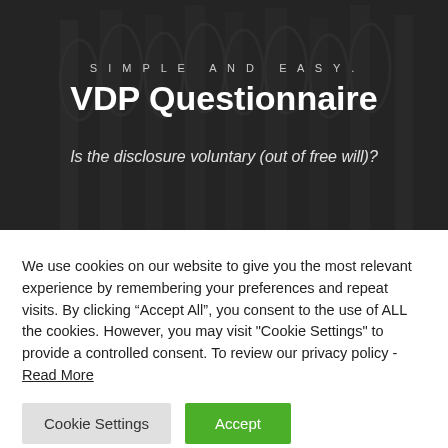[Figure (photo): Dark architectural photo of gothic building columns/arches, used as hero background.]
SIMPLE AND EASY.
VDP Questionnaire
Is the disclosure voluntary (out of free will)?
We use cookies on our website to give you the most relevant experience by remembering your preferences and repeat visits. By clicking “Accept All”, you consent to the use of ALL the cookies. However, you may visit "Cookie Settings" to provide a controlled consent. To review our privacy policy - Read More
Cookie Settings
Accept